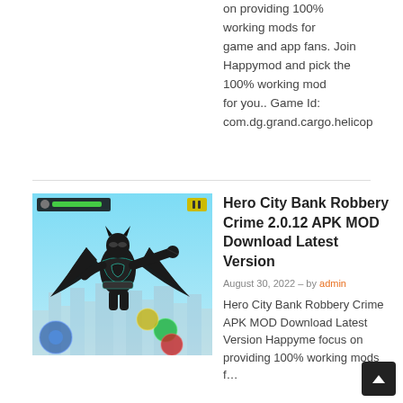on providing 100% working mods for game and app fans. Join Happymod and pick the 100% working mod for you.. Game Id: com.dg.grand.cargo.helicop
[Figure (screenshot): Screenshot of Hero City Bank Robbery Crime game showing a batman-like superhero character with wings flying over a city, with game HUD elements and control buttons]
Hero City Bank Robbery Crime 2.0.12 APK MOD Download Latest Version
August 30, 2022 – by admin
Hero City Bank Robbery Crime APK MOD Download Latest Version Happymod focus on providing 100% working mods f...